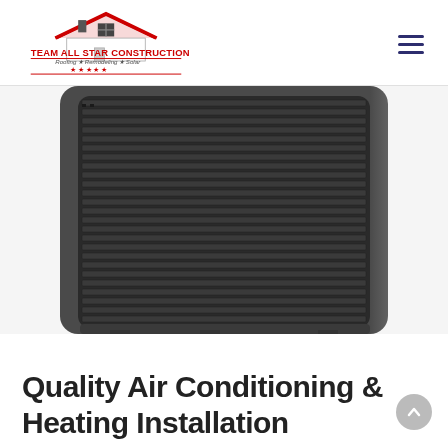[Figure (logo): Team All Star Construction logo with house roof icon. Red text: TEAM ALL STAR CONSTRUCTION. Italic gray text: Roofing ★ Remodeling ★ Solar. Red stars and red horizontal lines below.]
[Figure (photo): Close-up photo of an air conditioning unit exterior condenser with dark metal louvered grill fins.]
Quality Air Conditioning & Heating Installation